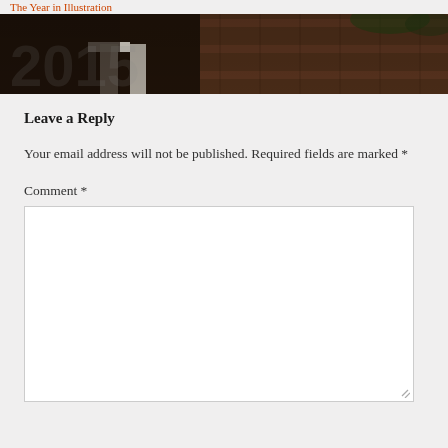The Year in Illustration
[Figure (photo): Partial photo of a brick building with white architectural details, dark tones, partially obscured]
Leave a Reply
Your email address will not be published. Required fields are marked *
Comment *
[Figure (other): Empty comment text area input box]